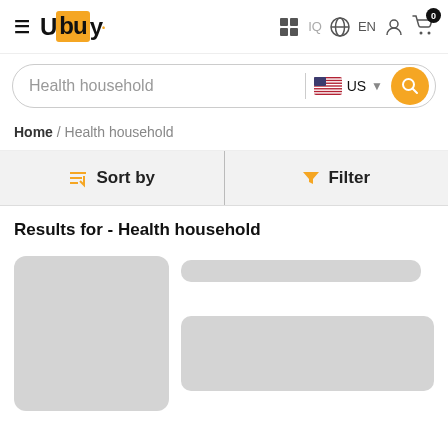Ubuy — IQ EN (navigation header with cart showing 0)
Health household — US (search bar)
Home / Health household
Sort by   Filter
Results for - Health household
[Figure (screenshot): Loading skeleton for a product listing card with grey image placeholder on the left and grey title/description bars on the right]